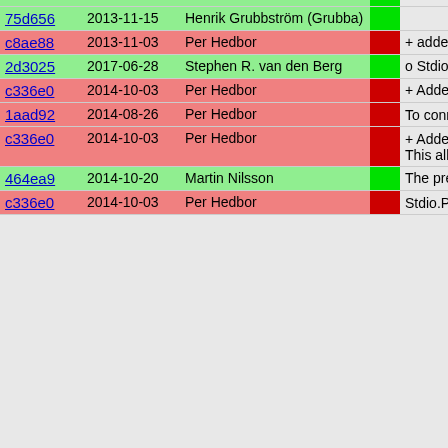| hash | date | author | bar | message |
| --- | --- | --- | --- | --- |
| 75d656 | 2013-11-15 | Henrik Grubbström (Grubba) |  |  |
| c8ae88 | 2013-11-03 | Per Hedbor |  | + added se |
| 2d3025 | 2017-06-28 | Stephen R. van den Berg |  | o Stdio.Port |
| c336e0 | 2014-10-03 | Per Hedbor |  | + Added c |
| 1aad92 | 2014-08-26 | Per Hedbor |  | To conne
fifth a

The ser
Stdio.Po |
| c336e0 | 2014-10-03 | Per Hedbor |  | + Added su
instanc
being o

This al
connect |
| 464ea9 | 2014-10-20 | Martin Nilsson |  | The pre |
| c336e0 | 2014-10-03 | Per Hedbor |  | Stdio.Po
Stdio.Po
work re
and cli |